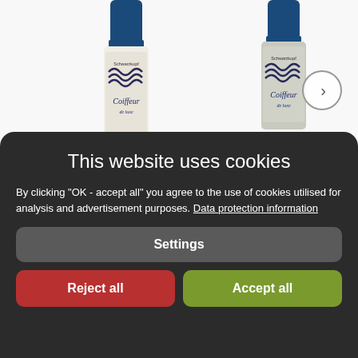[Figure (photo): Two Schwarzkopf Coiffeur hair spray product bottles with blue caps and white/silver bodies against a white background, with a right navigation arrow circle on the right side.]
This website uses cookies
By clicking "OK - accept all" you agree to the use of cookies utilised for analysis and advertisement purposes. Data protection information
Settings
Reject all
Accept all